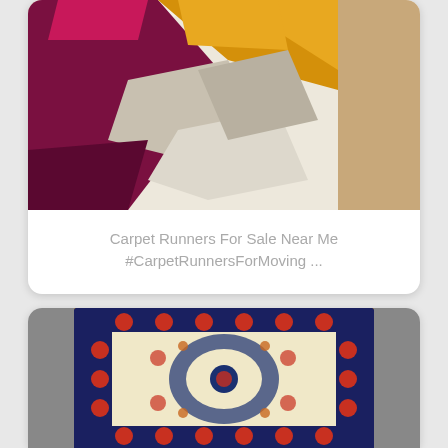[Figure (photo): Close-up photo of a modern geometric rug with bold magenta/purple, mustard yellow, and cream/beige angular shapes on a wooden floor background.]
Carpet Runners For Sale Near Me #CarpetRunnersForMoving ...
[Figure (photo): Photo of a traditional Persian/Oriental rug with a dark navy border, intricate red floral motifs, and a cream/ivory central medallion design.]